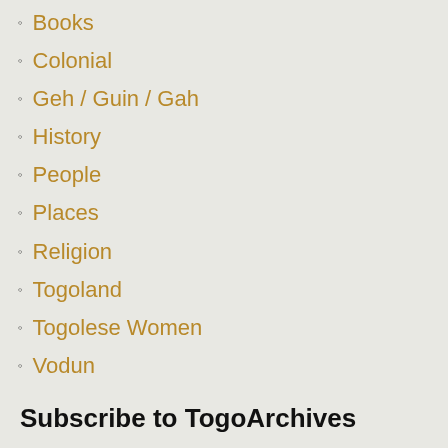Books
Colonial
Geh / Guin / Gah
History
People
Places
Religion
Togoland
Togolese Women
Vodun
Subscribe to TogoArchives
Enter your email address and receive notifications of new posts by email.
Email Address